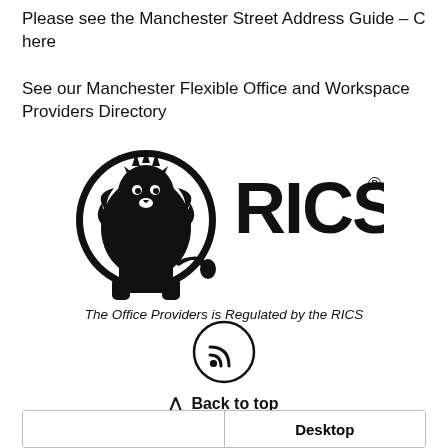Please see the Manchester Street Address Guide – C here
See our Manchester Flexible Office and Workspace Providers Directory
[Figure (logo): RICS logo with lion emblem and text 'RICS' with registered trademark symbol]
The Office Providers is Regulated by the RICS
[Figure (other): RSS feed icon inside a circle]
∧ Back to top
Desktop